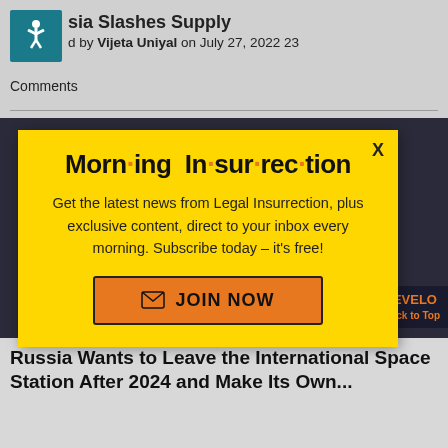sia Slashes Supply — posted by Vijeta Uniyal on July 27, 2022 23 Comments
[Figure (screenshot): Website screenshot showing a popup newsletter subscription modal over a news article page.]
Morn·ing In·sur·rec·tion
Get the latest news from Legal Insurrection, plus exclusive content, direct to your inbox every morning. Subscribe today – it's free!
JOIN NOW
Russia Wants to Leave the International Space Station After 2024 and Make Its Own...